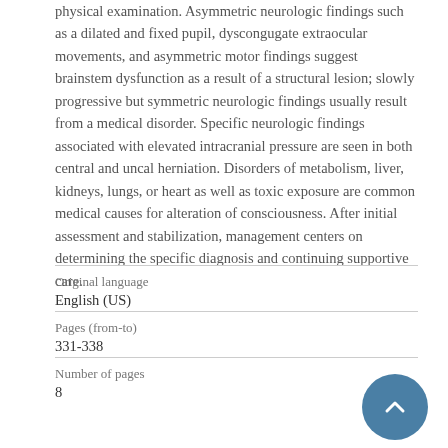physical examination. Asymmetric neurologic findings such as a dilated and fixed pupil, dyscongugate extraocular movements, and asymmetric motor findings suggest brainstem dysfunction as a result of a structural lesion; slowly progressive but symmetric neurologic findings usually result from a medical disorder. Specific neurologic findings associated with elevated intracranial pressure are seen in both central and uncal herniation. Disorders of metabolism, liver, kidneys, lungs, or heart as well as toxic exposure are common medical causes for alteration of consciousness. After initial assessment and stabilization, management centers on determining the specific diagnosis and continuing supportive care.
| Field | Value |
| --- | --- |
| Original language | English (US) |
| Pages (from-to) | 331-338 |
| Number of pages | 8 |